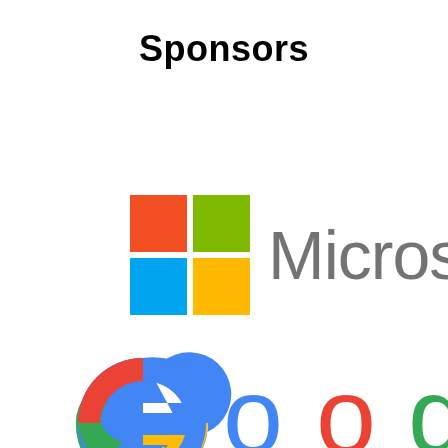Sponsors
[Figure (logo): Microsoft logo: four colored squares (red top-left, green top-right, blue bottom-left, yellow bottom-right) followed by the word 'Microso' (cropped) in gray sans-serif]
[Figure (logo): Google logo: large letter G in blue with red and yellow curves, followed by 'Goo' (cropped) in multicolor Google font — blue G, red o, yellow o]